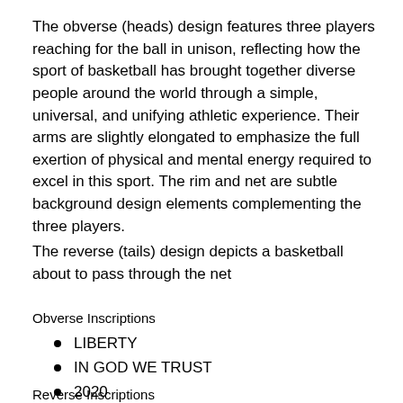The obverse (heads) design features three players reaching for the ball in unison, reflecting how the sport of basketball has brought together diverse people around the world through a simple, universal, and unifying athletic experience. Their arms are slightly elongated to emphasize the full exertion of physical and mental energy required to excel in this sport. The rim and net are subtle background design elements complementing the three players.
The reverse (tails) design depicts a basketball about to pass through the net
Obverse Inscriptions
LIBERTY
IN GOD WE TRUST
2020
Reverse Inscriptions